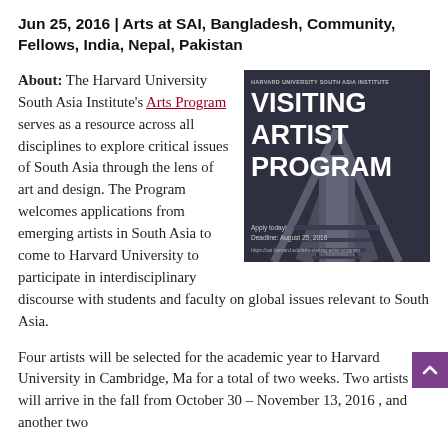Jun 25, 2016 | Arts at SAI, Bangladesh, Community, Fellows, India, Nepal, Pakistan
About: The Harvard University South Asia Institute's Arts Program serves as a resource across all disciplines to explore critical issues of South Asia through the lens of art and design. The Program welcomes applications from emerging artists in South Asia to come to Harvard University to participate in interdisciplinary discourse with students and faculty on global issues relevant to South Asia.
[Figure (other): Visiting Artist Program promotional image with bold white text on dark background showing railway tracks. Header reads 'HARVARD UNIVERSITY SOUTH ASIA INSTITUTE', main title 'VISITING ARTIST PROGRAM', with text 'Apply today! Deadline: August 25, 2016']
Four artists will be selected for the academic year to Harvard University in Cambridge, Ma for a total of two weeks. Two artists will arrive in the fall from October 30 – November 13, 2016 , and another two